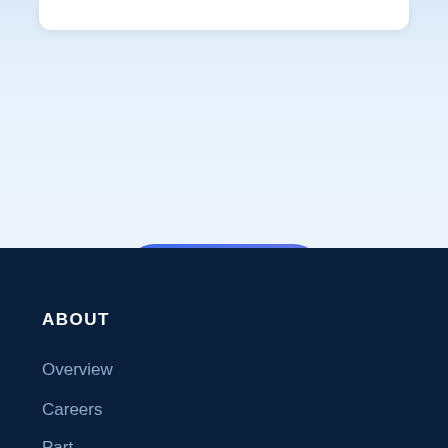[Figure (screenshot): Top white card element partially visible at top of page, cropped]
See More
ABOUT
Overview
Careers
Part...